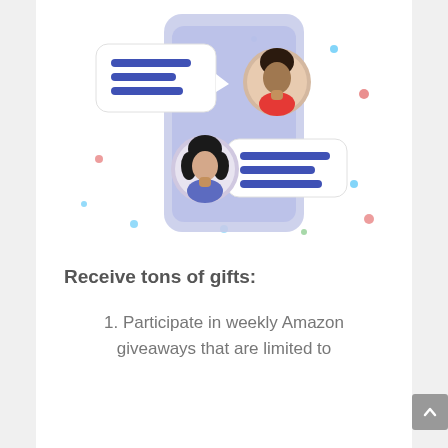[Figure (illustration): Illustration of two people chatting via a mobile messaging app. A smartphone interface with a purple/lavender background shows two avatar figures — a woman with dark skin and red top at the top right, and a woman with lighter skin and blue top at the bottom left. Speech bubbles with blue horizontal lines extend from each avatar, representing messages. Colorful dots (red, teal, blue) are scattered around as decorative elements.]
Receive tons of gifts:
1. Participate in weekly Amazon giveaways that are limited to